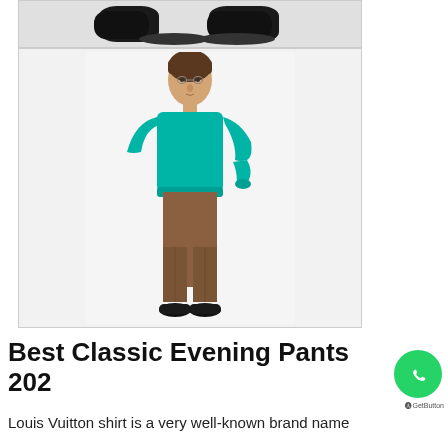[Figure (photo): Fashion product photo showing a male model wearing a teal/turquoise knit sweater and brown straight-leg trousers with black shoes. At the very top, a partial image of black shoes is visible from a previous product photo.]
Best Classic Evening Pants 202
Louis Vuitton shirt is a very well-known brand name